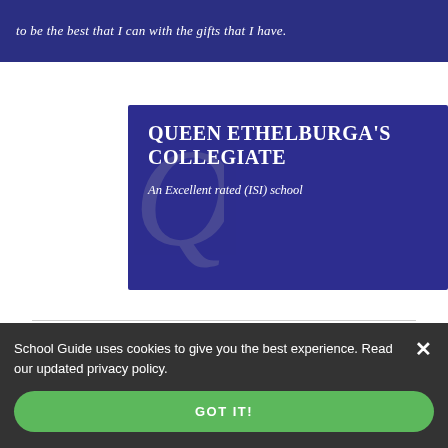[Figure (screenshot): Partial dark blue banner with italic white text: 'to be the best that I can with the gifts that I have.']
[Figure (logo): Queen Ethelburga's Collegiate advertisement banner. Dark blue/purple background with decorative monogram. Text: 'Queen Ethelburga's Collegiate' and 'An Excellent rated (ISI) school']
News, Photos and Open Days
from Queen Ethelburga's...
School Guide uses cookies to give you the best experience. Read our updated privacy policy.
GOT IT!